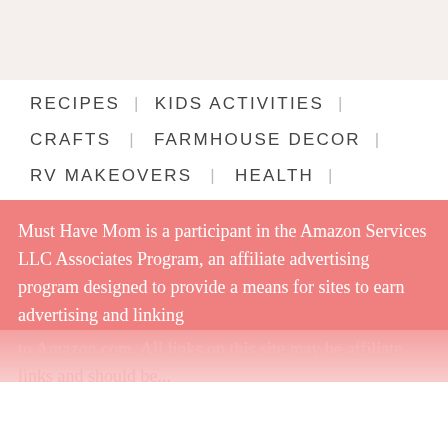RECIPES  |  KIDS ACTIVITIES  |
CRAFTS  |  FARMHOUSE DECOR  |
RV MAKEOVERS  |  HEALTH  |
Must Have Mom is a participant in the Amazon Services LLC Associates Program, an affiliate advertising program designed to provide a means for sites to earn advertising and linking to Amazon.com. All links on this site may be affiliate links and should be...